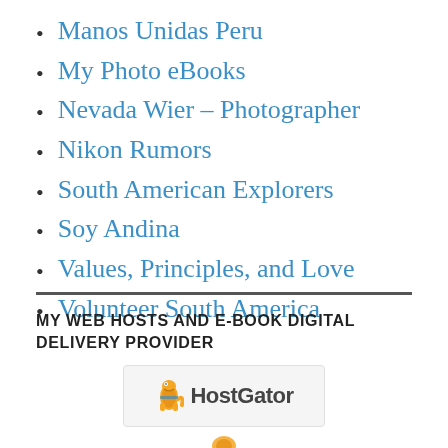Manos Unidas Peru
My Photo eBooks
Nevada Wier – Photographer
Nikon Rumors
South American Explorers
Soy Andina
Values, Principles, and Love
Volunteer South America
MY WEB HOSTS AND E-BOOK DIGITAL DELIVERY PROVIDER
[Figure (logo): HostGator logo with a yellow/blue alligator mascot figure and the text 'HostGator' in dark gray, on a light gray background box]
[Figure (logo): Partial logo icon visible at bottom edge of page]